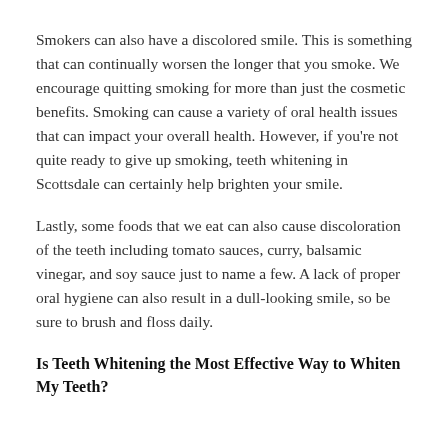Smokers can also have a discolored smile. This is something that can continually worsen the longer that you smoke. We encourage quitting smoking for more than just the cosmetic benefits. Smoking can cause a variety of oral health issues that can impact your overall health. However, if you're not quite ready to give up smoking, teeth whitening in Scottsdale can certainly help brighten your smile.
Lastly, some foods that we eat can also cause discoloration of the teeth including tomato sauces, curry, balsamic vinegar, and soy sauce just to name a few. A lack of proper oral hygiene can also result in a dull-looking smile, so be sure to brush and floss daily.
Is Teeth Whitening the Most Effective Way to Whiten My Teeth?